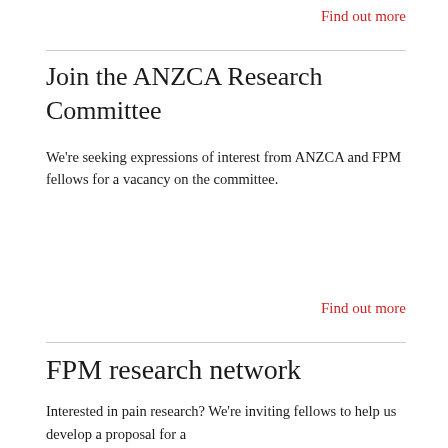Find out more
Join the ANZCA Research Committee
We're seeking expressions of interest from ANZCA and FPM fellows for a vacancy on the committee.
Find out more
FPM research network
Interested in pain research? We're inviting fellows to help us develop a proposal for a